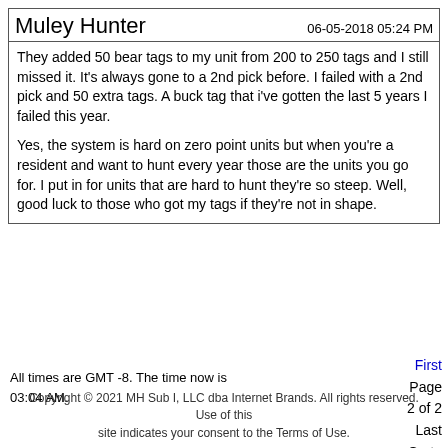Muley Hunter
06-05-2018 05:24 PM
They added 50 bear tags to my unit from 200 to 250 tags and I still missed it. It's always gone to a 2nd pick before. I failed with a 2nd pick and 50 extra tags. A buck tag that i've gotten the last 5 years I failed this year.

Yes, the system is hard on zero point units but when you're a resident and want to hunt every year those are the units you go for. I put in for units that are hard to hunt they're so steep. Well, good luck to those who got my tags if they're not in shape.
All times are GMT -8. The time now is 03:04 AM.
First Page 2 of 2 Last Go to Page 1 2 Page 2 of 2
Go to 2
Go
Show 40 post(s) from this thread on one page
Copyright © 2021 MH Sub I, LLC dba Internet Brands. All rights reserved. Use of this site indicates your consent to the Terms of Use.